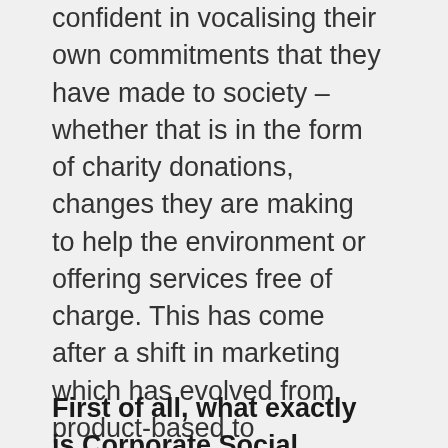confident in vocalising their own commitments that they have made to society – whether that is in the form of charity donations, changes they are making to help the environment or offering services free of charge. This has come after a shift in marketing which has evolved from product-based to consumer-based to value-based marketing.
First of all, what exactly is Corporate Social